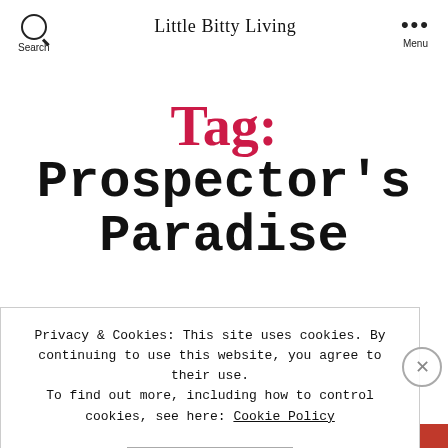Search  Little Bitty Living  Menu
Tag: Prospector's Paradise
Privacy & Cookies: This site uses cookies. By continuing to use this website, you agree to their use.
To find out more, including how to control cookies, see here: Cookie Policy
CLOSE AND ACCEPT